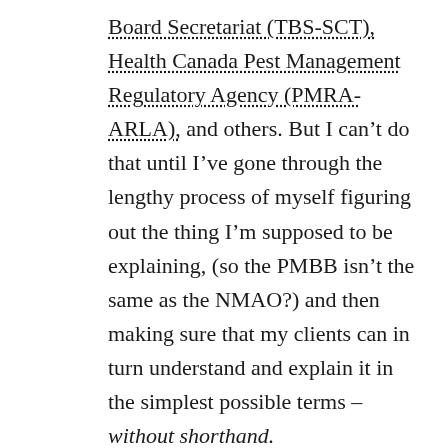Board Secretariat (TBS-SCT), Health Canada Pest Management Regulatory Agency (PMRA-ARLA), and others. But I can't do that until I've gone through the lengthy process of myself figuring out the thing I'm supposed to be explaining, (so the PMBB isn't the same as the NMAO?) and then making sure that my clients can in turn understand and explain it in the simplest possible terms – without shorthand.
At other times, I've actually had the joyous opportunity to name, or better yet un-name or re-name, a government entity. For example, a few years ago, I helped Industry Canada launch a new